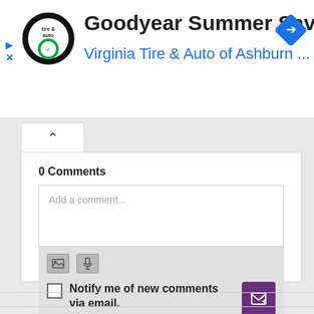[Figure (screenshot): Ad banner for Goodyear Summer Savings at Virginia Tire & Auto of Ashburn with logo and navigation icon]
Goodyear Summer Savings
Virginia Tire & Auto of Ashburn ...
0 Comments
Add a comment...
Notify me of new comments via email.